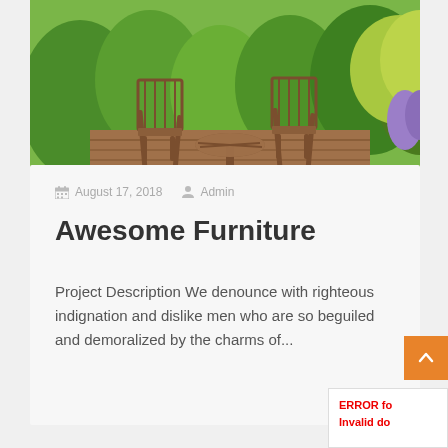[Figure (photo): Outdoor garden scene with two wooden folding chairs and a small round wooden table on a wooden deck, surrounded by lush green plants, shrubs, and flowers in a garden setting.]
August 17, 2018   Admin
Awesome Furniture
Project Description We denounce with righteous indignation and dislike men who are so beguiled and demoralized by the charms of...